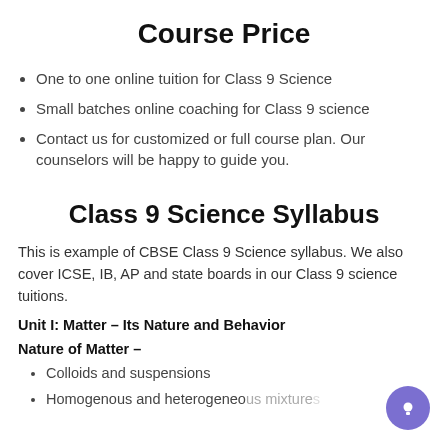Course Price
One to one online tuition for Class 9 Science
Small batches online coaching for Class 9 science
Contact us for customized or full course plan. Our counselors will be happy to guide you.
Class 9 Science Syllabus
This is example of CBSE Class 9 Science syllabus. We also cover ICSE, IB, AP and state boards in our Class 9 science tuitions.
Unit I: Matter – Its Nature and Behavior
Nature of Matter –
Colloids and suspensions
Homogenous and heterogeneous mixtures